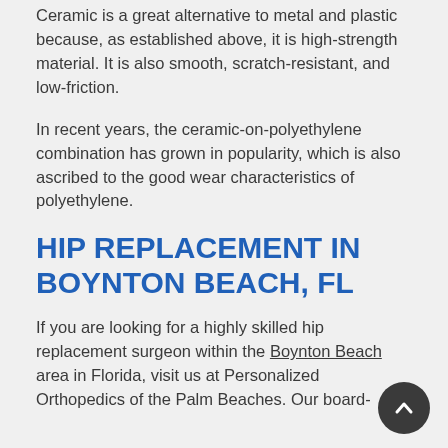Ceramic is a great alternative to metal and plastic because, as established above, it is high-strength material. It is also smooth, scratch-resistant, and low-friction.
In recent years, the ceramic-on-polyethylene combination has grown in popularity, which is also ascribed to the good wear characteristics of polyethylene.
HIP REPLACEMENT IN BOYNTON BEACH, FL
If you are looking for a highly skilled hip replacement surgeon within the Boynton Beach area in Florida, visit us at Personalized Orthopedics of the Palm Beaches. Our board-